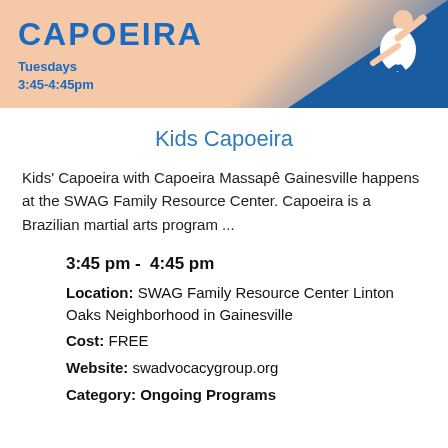[Figure (illustration): Capoeira promotional banner with text 'CAPOEIRA', 'Tuesdays 3:45-4:45pm', a blue diagonal shape, and a figure of a person doing a capoeira move on a peach/salmon background]
Kids Capoeira
Kids' Capoeira with Capoeira Massapê Gainesville happens at the SWAG Family Resource Center. Capoeira is a Brazilian martial arts program ...
3:45 pm -  4:45 pm
Location: SWAG Family Resource Center Linton Oaks Neighborhood in Gainesville
Cost: FREE
Website: swadvocacygroup.org
Category: Ongoing Programs